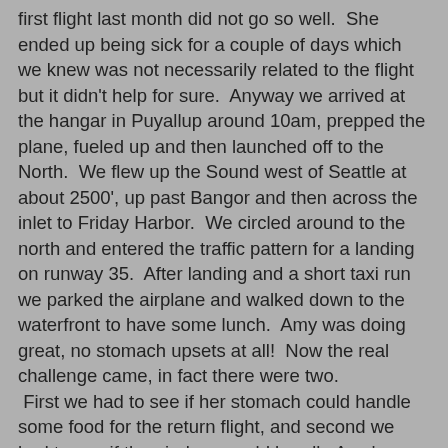first flight last month did not go so well.  She ended up being sick for a couple of days which we knew was not necessarily related to the flight but it didn't help for sure.  Anyway we arrived at the hangar in Puyallup around 10am, prepped the plane, fueled up and then launched off to the North.  We flew up the Sound west of Seattle at about 2500', up past Bangor and then across the inlet to Friday Harbor.  We circled around to the north and entered the traffic pattern for a landing on runway 35.  After landing and a short taxi run we parked the airplane and walked down to the waterfront to have some lunch.  Amy was doing great, no stomach upsets at all!  Now the real challenge came, in fact there were two.  First we had to see if her stomach could handle some food for the return flight, and second we had to see if the airplane could handle Amy's shopping spree!!  :-)  The answer to both was a resounding YES!  About an hour or so later we once again took off and this time we flew down over the Skaggit valley.  A few flowers were out and we did pass near the land slide that killed several people a couple of weeks ago but Amy didn't see much of it since she was doing what Amy does best while traveling....she was snoozin!  I snuck a picture in below...we will see how long she lets me keep it.